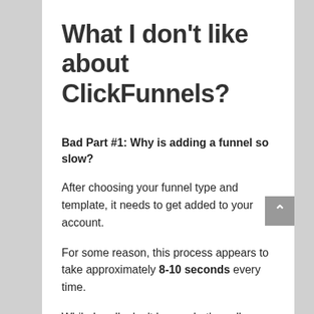What I don't like about ClickFunnels?
Bad Part #1: Why is adding a funnel so slow?
After choosing your funnel type and template, it needs to get added to your account.
For some reason, this process appears to take approximately 8-10 seconds every time.
While I really don't know what's really going on behind the scenes, it does not make sense to me why this would take so long. It's a bit annoying,